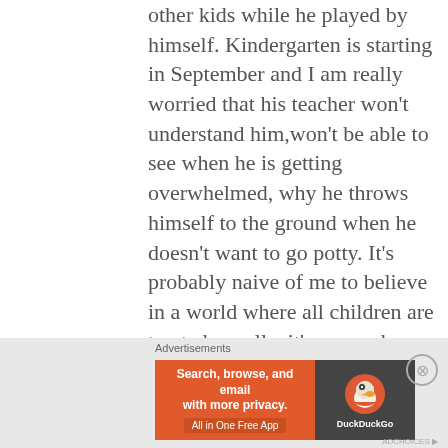other kids while he played by himself. Kindergarten is starting in September and I am really worried that his teacher won't understand him,won't be able to see when he is getting overwhelmed, why he throws himself to the ground when he doesn't want to go potty. It's probably naive of me to believe in a world where all children are treated equally, it's so much easier to judge than to understand. sometimes all they need to make their lives easier is a comforting word or a hug
Advertisements
[Figure (other): DuckDuckGo advertisement banner: orange left side with text 'Search, browse, and email with more privacy. All in One Free App' and dark right side with DuckDuckGo duck logo and brand name.]